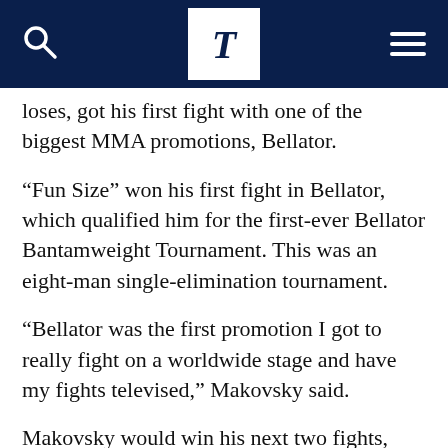T (The Tulane Hullabaloo or similar publication logo)
loses, got his first fight with one of the biggest MMA promotions, Bellator.
“Fun Size” won his first fight in Bellator, which qualified him for the first-ever Bellator Bantamweight Tournament. This was an eight-man single-elimination tournament.
“Bellator was the first promotion I got to really fight on a worldwide stage and have my fights televised,” Makovsky said.
Makovsky would win his next two fights, which put him in line to fight for the Bellator Bantamweight Championship against Ed West. He dominated the fight from the start and won the title by unanimous